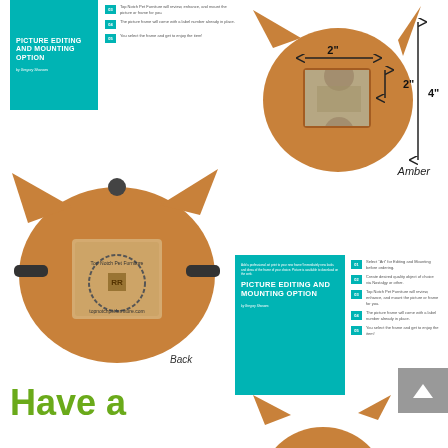[Figure (illustration): Teal brochure cover with 'PICTURE EDITING AND MOUNTING OPTION' title and numbered steps list]
[Figure (photo): Wooden cat-shaped photo frame holding a cat photo, with measurement annotations: 2 inches wide, 2 inches and 4 inches height arrows, labeled 'Amber']
Amber
[Figure (photo): Back side of wooden cat-shaped frame showing mounting hardware and Top Notch Pet Furniture branding label with website topnotchpetfurniture.com]
Back
[Figure (illustration): Second brochure with 'PICTURE EDITING AND MOUNTING OPTION' on teal background with numbered list steps]
Have a
[Figure (photo): Partial view of wooden cat-shaped frame showing ears, partially cropped at bottom of page]
[Figure (other): Scroll-to-top button with upward arrow]